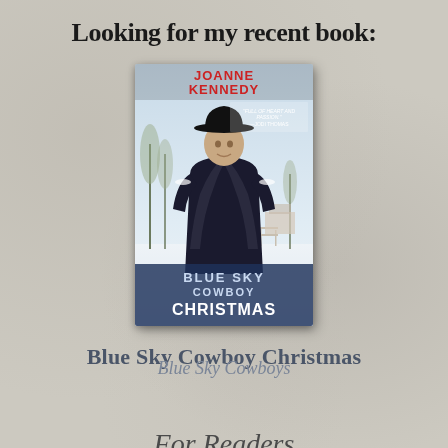Looking for my recent book:
[Figure (illustration): Book cover for 'Blue Sky Cowboy Christmas' by Joanne Kennedy. Shows a man in a black cowboy hat and dark shirt standing in a snowy winter scene with trees and a fence in the background. Red title text at top reads 'JOANNE KENNEDY'. A quote reads 'FULL OF HEART AND PASSION.' - JODI THOMAS. Blue text at bottom reads 'BLUE SKY COWBOY CHRISTMAS'.]
Blue Sky Cowboy Christmas
Blue Sky Cowboys
For Readers